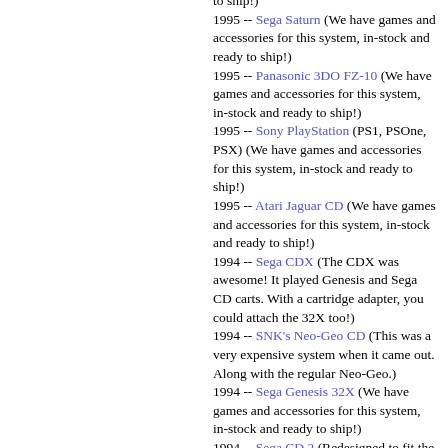to ship!)
1995 -- Sega Saturn (We have games and accessories for this system, in-stock and ready to ship!)
1995 -- Panasonic 3DO FZ-10 (We have games and accessories for this system, in-stock and ready to ship!)
1995 -- Sony PlayStation (PS1, PSOne, PSX) (We have games and accessories for this system, in-stock and ready to ship!)
1995 -- Atari Jaguar CD (We have games and accessories for this system, in-stock and ready to ship!)
1994 -- Sega CDX (The CDX was awesome! It played Genesis and Sega CD carts. With a cartridge adapter, you could attach the 32X too!)
1994 -- SNK's Neo-Geo CD (This was a very expensive system when it came out. Along with the regular Neo-Geo.)
1994 -- Sega Genesis 32X (We have games and accessories for this system, in-stock and ready to ship!)
1994 -- Sega CD 2 (Redesigned to fit the Genesis 2.)
1994 -- Sega Genesis 2 (The Genesis 2 plays all Genesis games, except Ishido and Zany Golf.)
1993 -- Nintendo NES Model 2 (Redesigned to confuse people about buying the Super NES.)
1993 -- Atari Jaguar (We have games and accessories for this system, in-stock and ready to ship!)
1993 -- Panasonic REAL 3DO Interactive Multiplayer (also licensed to be made by Goldstar, Sanyo, Samsung, AT&T) (We have a good selection of boxed 3DO games!)
1992 -- Sega CD (We have games and accessories for this system, in-stock and ready to ship!)
1992 -- NEC TurboDuo (Not very popular, possibly due to their expense.)
1991 -- Super Nintendo Entertainment System (Super Famicom in Japan) (We have...